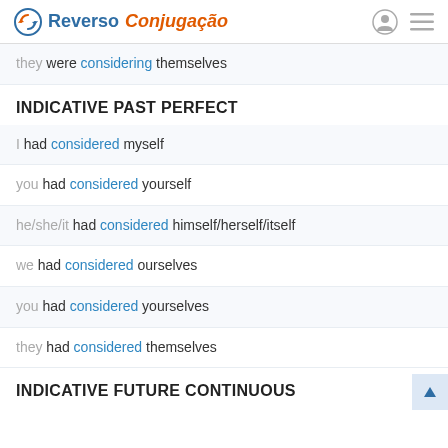Reverso Conjugação
they were considering themselves
INDICATIVE PAST PERFECT
I had considered myself
you had considered yourself
he/she/it had considered himself/herself/itself
we had considered ourselves
you had considered yourselves
they had considered themselves
INDICATIVE FUTURE CONTINUOUS